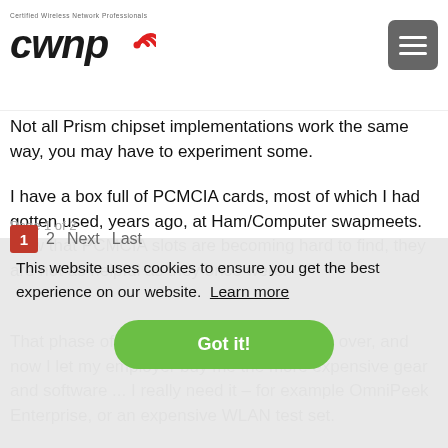CWNP - Certified Wireless Network Professionals
Not all Prism chipset implementations work the same way, you may have to experiment some.
I have a box full of PCMCIA cards, most of which I had gotten used, years ago, at Ham/Computer swapmeets. Now that PCMCIA slots are becoming hard to find, they are not as helpful as they once were.
That phase of my life (wild experimenter) is over, and now I let my employer buy me the more expensive gear and software ... I really need it - for example OmniPeek Enterprise, or an expensive WLAN test set.
This website uses cookies to ensure you get the best experience on our website. Learn more
Page 1 of 2
1  2  Next  Last